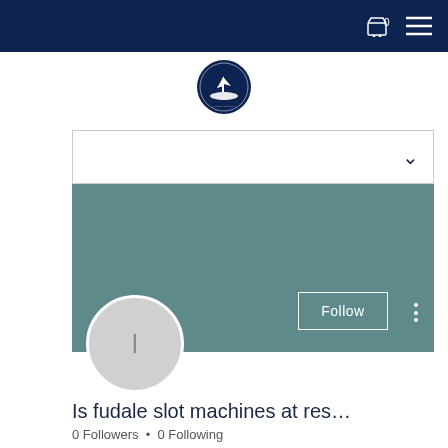Navigation bar with cart (0) and menu icon
[Figure (logo): Circular dark navy logo with ship illustration]
[Figure (screenshot): Dropdown selector bar with chevron]
[Figure (screenshot): Teal/slate profile cover banner with Follow button and three-dot menu]
[Figure (illustration): Circular gray avatar with letter I]
Is fudale slot machines at res...
0 Followers • 0 Following
Profile